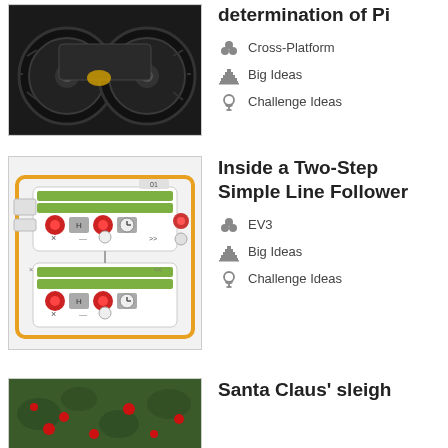[Figure (photo): Dark robot wheels/vehicle from LEGO robotics]
determination of Pi
Cross-Platform
Big Ideas
Challenge Ideas
[Figure (screenshot): EV3 programming blocks screenshot showing a two-step simple line follower program]
Inside a Two-Step Simple Line Follower
EV3
Big Ideas
Challenge Ideas
[Figure (photo): Santa Claus sleigh with red flowers/holly on green background]
Santa Claus' sleigh